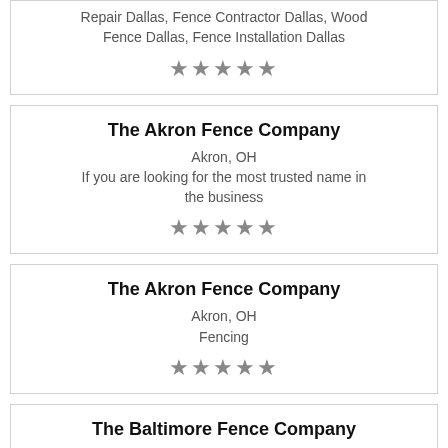Repair Dallas, Fence Contractor Dallas, Wood Fence Dallas, Fence Installation Dallas
★★★★★
The Akron Fence Company
Akron, OH
If you are looking for the most trusted name in the business
★★★★★
The Akron Fence Company
Akron, OH
Fencing
★★★★★
The Baltimore Fence Company